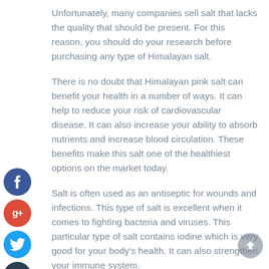Unfortunately, many companies sell salt that lacks the quality that should be present. For this reason, you should do your research before purchasing any type of Himalayan salt.
There is no doubt that Himalayan pink salt can benefit your health in a number of ways. It can help to reduce your risk of cardiovascular disease. It can also increase your ability to absorb nutrients and increase blood circulation. These benefits make this salt one of the healthiest options on the market today.
Salt is often used as an antiseptic for wounds and infections. This type of salt is excellent when it comes to fighting bacteria and viruses. This particular type of salt contains iodine which is very good for your body's health. It can also strengthen your immune system.
Another that is ideal health benefits or so the...